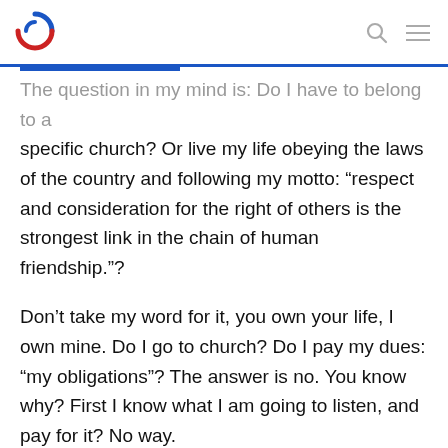[Logo] [Search icon] [Menu icon]
The question in my mind is: Do I have to belong to a specific church? Or live my life obeying the laws of the country and following my motto: “respect and consideration for the right of others is the strongest link in the chain of human friendship.”?
Don’t take my word for it, you own your life, I own mine. Do I go to church? Do I pay my dues: “my obligations”? The answer is no. You know why? First I know what I am going to listen, and pay for it? No way.
In fact I used to be a Bible salesman in between jobs in the U.S. You figure. Therefore, theoretically